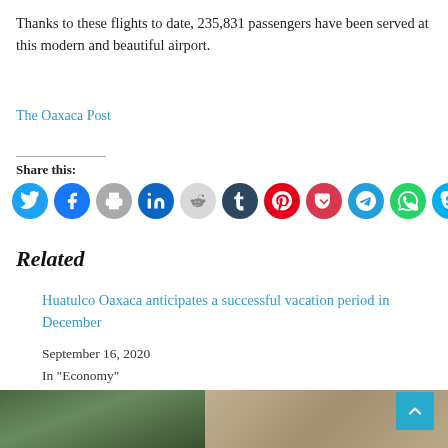Thanks to these flights to date, 235,831 passengers have been served at this modern and beautiful airport.
The Oaxaca Post
Share this:
[Figure (infographic): Row of social media share icon buttons: Twitter (blue), Facebook (dark blue), Print (gray), LinkedIn (dark blue), Reddit (light gray/pink), Tumblr (dark navy), Pinterest (red), Pocket (red), Telegram (blue), WhatsApp (green), Skype (light blue)]
Related
Huatulco Oaxaca anticipates a successful vacation period in December
September 16, 2020
In "Economy"
[Figure (photo): Two partially visible photos at the bottom of the page: left appears to be a hillside/landscape, right appears to be a document or map]